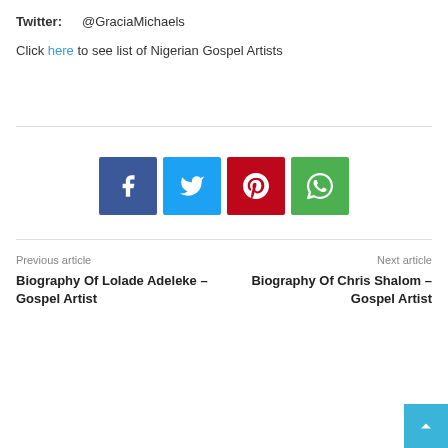Twitter:    @GraciaMichaels
Click here to see list of Nigerian Gospel Artists
[Figure (infographic): Social sharing buttons: Facebook (blue), Twitter (light blue), Pinterest (red), WhatsApp (green)]
Previous article
Biography Of Lolade Adeleke – Gospel Artist
Next article
Biography Of Chris Shalom – Gospel Artist